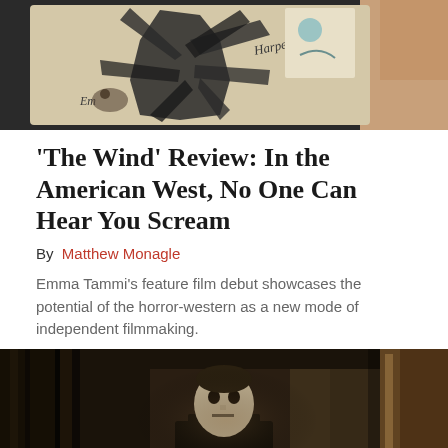[Figure (photo): Close-up photo of illustrated cards or drawings being held by hand, showing dark sketched figures and handwritten text including 'Harper' and 'Emma']
‘The Wind’ Review: In the American West, No One Can Hear You Scream
By  Matthew Monagle
Emma Tammi’s feature film debut showcases the potential of the horror-western as a new mode of independent filmmaking.
[Figure (photo): Dark, sepia-toned film still showing a masked figure (resembling Michael Myers) standing in a doorway of a dimly lit room]